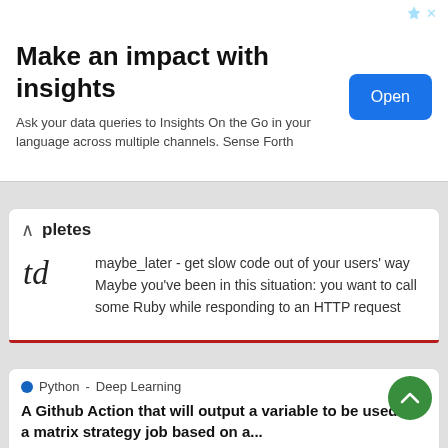[Figure (screenshot): Advertisement banner with title 'Make an impact with insights', subtitle text, and a blue 'Open' button on the right.]
pletes
maybe_later - get slow code out of your users' way Maybe you've been in this situation: you want to call some Ruby while responding to an HTTP request
Python - Deep Learning  ☆ 20
A Github Action that will output a variable to be used in a matrix strategy job based on a...
PR Changes Matrix Builder This Action will generate a output variable that can be used to